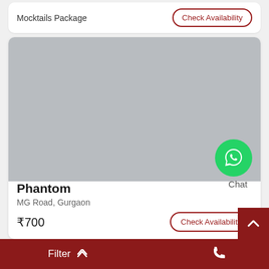Mocktails Package
Check Availability
[Figure (photo): Gray placeholder image for Phantom venue listing]
Chat
Phantom
MG Road, Gurgaon
₹700
Check Availability
Filter